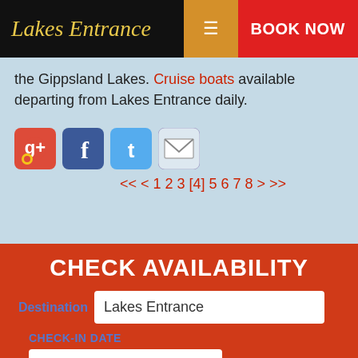Lakes Entrance
the Gippsland Lakes. Cruise boats available departing from Lakes Entrance daily.
[Figure (other): Social media icons: Google+, Facebook, Twitter, Email]
<< < 1 2 3 [4] 5 6 7 8 > >>
CHECK AVAILABILITY
Destination: Lakes Entrance
CHECK-IN DATE: 20